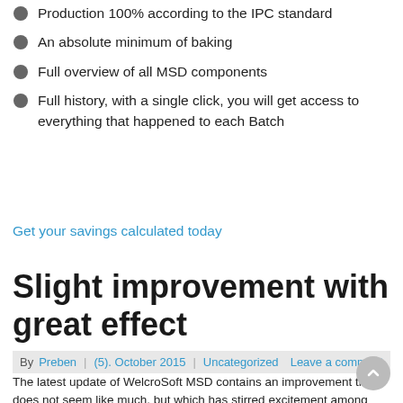Production 100% according to the IPC standard
An absolute minimum of baking
Full overview of all MSD components
Full history, with a single click, you will get access to everything that happened to each Batch
Get your savings calculated today
Slight improvement with great effect
By Preben | (5). October 2015 | Uncategorized   Leave a comment
The latest update of WelcroSoft MSD contains an improvement that does not seem like much, but which has stirred excitement among users:-)
The new feature makes it possible to save time every time a roll of